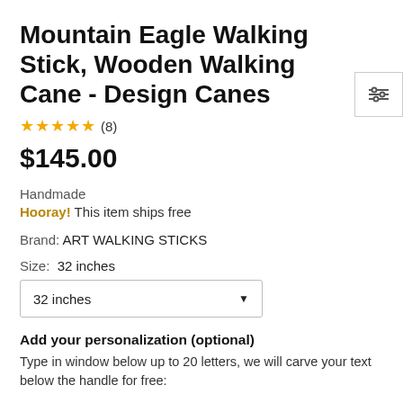Mountain Eagle Walking Stick, Wooden Walking Cane - Design Canes
★★★★★ (8)
$145.00
Handmade
Hooray! This item ships free
Brand: ART WALKING STICKS
Size:  32 inches
32 inches
Add your personalization (optional)
Type in window below up to 20 letters, we will carve your text below the handle for free: